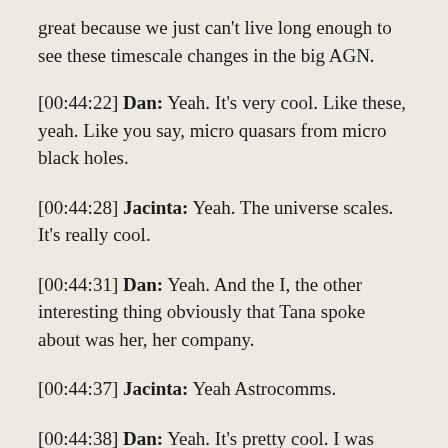great because we just can't live long enough to see these timescale changes in the big AGN.
[00:44:22] Dan: Yeah. It's very cool. Like these, yeah. Like you say, micro quasars from micro black holes.
[00:44:28] Jacinta: Yeah. The universe scales. It's really cool.
[00:44:31] Dan: Yeah. And the I, the other interesting thing obviously that Tana spoke about was her, her company.
[00:44:37] Jacinta: Yeah Astrocomms.
[00:44:38] Dan: Yeah. It's pretty cool. I was very